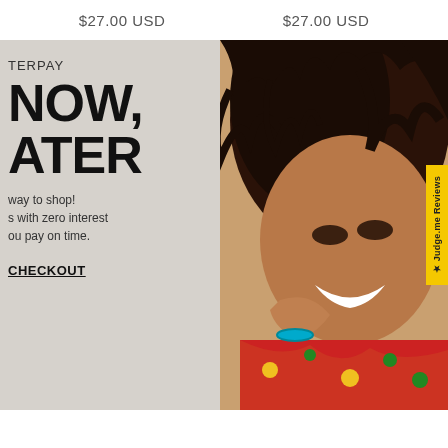$27.00 USD    $27.00 USD
[Figure (photo): Afterpay promotional banner with a smiling woman with curly hair wearing a colorful floral top, with text: AFTERPAY - BUY NOW, PAY LATER - The smartest way to shop! Shop in 4 installments with zero interest as long as you pay on time. SHOP AT CHECKOUT]
★ Judge.me Reviews